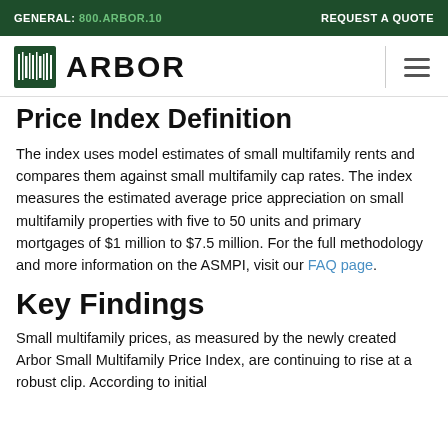GENERAL: 800.ARBOR.10   REQUEST A QUOTE
[Figure (logo): Arbor logo with barcode-style tree icon and ARBOR wordmark]
Price Index Definition
The index uses model estimates of small multifamily rents and compares them against small multifamily cap rates. The index measures the estimated average price appreciation on small multifamily properties with five to 50 units and primary mortgages of $1 million to $7.5 million. For the full methodology and more information on the ASMPI, visit our FAQ page.
Key Findings
Small multifamily prices, as measured by the newly created Arbor Small Multifamily Price Index, are continuing to rise at a robust clip. According to initial